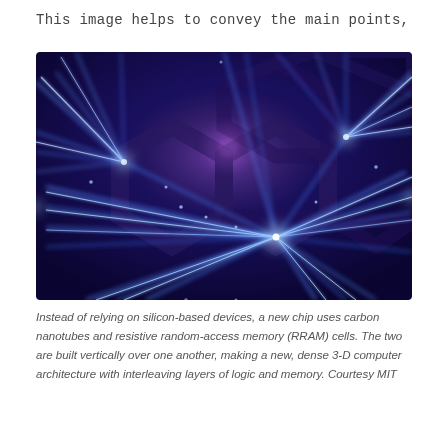This image helps to convey the main points,
[Figure (photo): Abstract glowing blue network of interconnected nodes and lines forming a geometric structure, suggesting nanotechnology or computer architecture. The image has a dark blue/purple background with bright white-blue luminous lines radiating from connection nodes.]
Instead of relying on silicon-based devices, a new chip uses carbon nanotubes and resistive random-access memory (RRAM) cells. The two are built vertically over one another, making a new, dense 3-D computer architecture with interleaving layers of logic and memory. Courtesy MIT